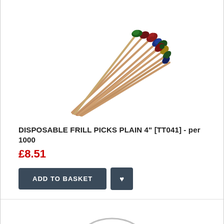[Figure (photo): A bundle of disposable frill picks with colorful decorative tops in red, green, blue, and yellow arranged in a fan shape on wooden sticks]
DISPOSABLE FRILL PICKS PLAIN 4" [TT041] - per 1000
£8.51
[Figure (photo): Partial view of a second product at the bottom of the page]